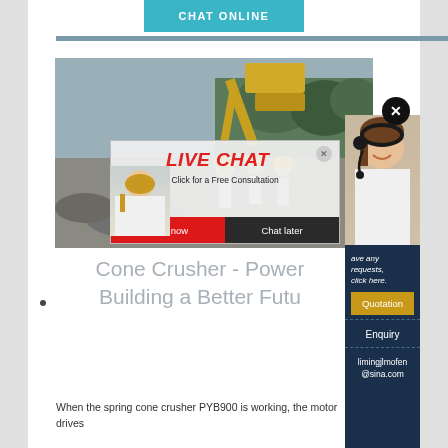CHAT ONLINE
[Figure (photo): Construction site with excavator and workers in yellow hard hats; live chat popup overlay with 'LIVE CHAT Click for a Free Consultation' and Chat now / Chat later buttons; woman with headset on right side panel]
Cone Crusher - Power... Building a Better Futu...
When the spring cone crusher PYB900 is working, the motor drives